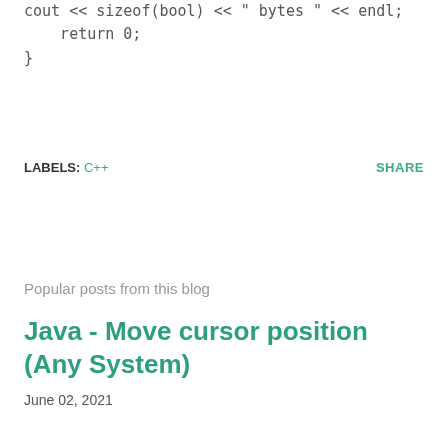cout << sizeof(bool) is << sizeof(bool) << " bytes " << endl;
    return 0;
}
LABELS: C++    SHARE
Popular posts from this blog
Java - Move cursor position (Any System)
June 02, 2021